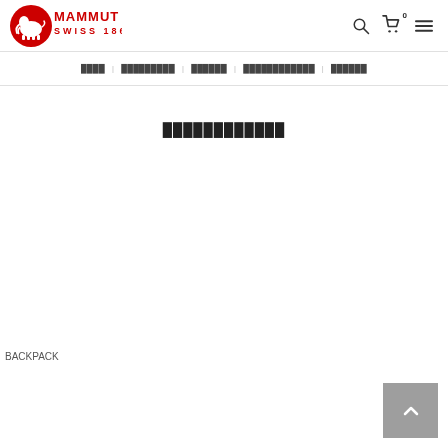[Figure (logo): Mammut Swiss 1862 logo with mammoth icon in red circle]
🔍  🛒 0  ≡
████  |  █████████  |  ██████  |  ████████████  |  ██████
████████████
BACKPACK